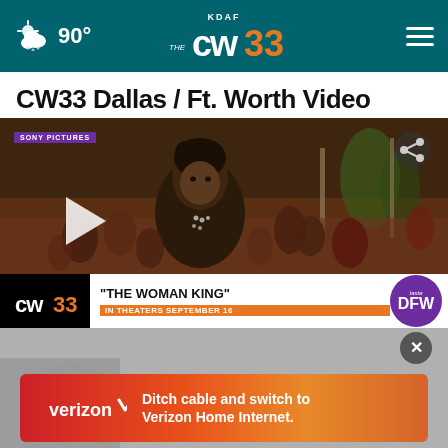KDAF CW33 — 90° weather icon — hamburger menu
CW33 Dallas / Ft. Worth Video
[Figure (screenshot): Video thumbnail for 'The Woman King' movie trailer showing a warrior woman in a crowd, with Sony Pictures badge, share icon, play button, CW33 logo bar at bottom showing title 'THE WOMAN KING' and subtitle 'IN THEATERS SEPTEMBER 16' with DFW badge.]
[Figure (screenshot): Verizon advertisement banner with close (X) button showing 'Ditch cable and switch to Verizon Home Internet.' on gradient red-orange background with Verizon logo.]